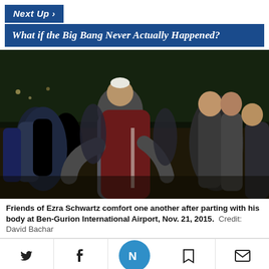Next Up >
What if the Big Bang Never Actually Happened?
[Figure (photo): Group of young men embracing and comforting one another outdoors at night, one wearing a white kippah. Dark background, warm-toned clothing.]
Friends of Ezra Schwartz comfort one another after parting with his body at Ben-Gurion International Airport, Nov. 21, 2015.  Credit: David Bachar